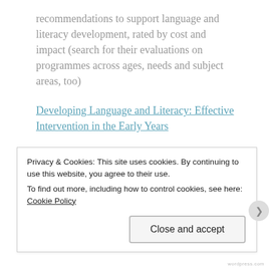recommendations to support language and literacy development, rated by cost and impact (search for their evaluations on programmes across ages, needs and subject areas, too)
Developing Language and Literacy: Effective Intervention in the Early Years
Developing Reading Comprehension
Closing the Vocabulary Gap
The Reading Mind
Privacy & Cookies: This site uses cookies. By continuing to use this website, you agree to their use.
To find out more, including how to control cookies, see here: Cookie Policy
Close and accept